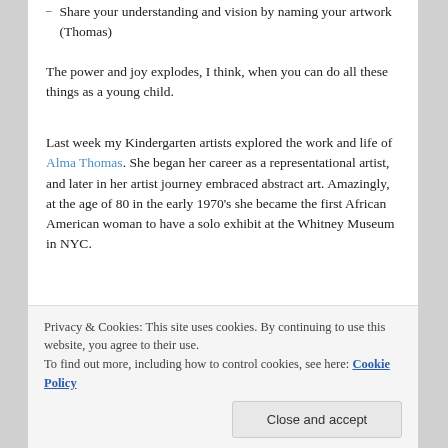Share your understanding and vision by naming your artwork (Thomas)
The power and joy explodes, I think, when you can do all these things as a young child.
Last week my Kindergarten artists explored the work and life of Alma Thomas. She began her career as a representational artist, and later in her artist journey embraced abstract art. Amazingly, at the age of 80 in the early 1970's she became the first African American woman to have a solo exhibit at the Whitney Museum in NYC.
The kindergarten artists loved Alma's use of color, and
of your thumb.
Privacy & Cookies: This site uses cookies. By continuing to use this website, you agree to their use.
To find out more, including how to control cookies, see here: Cookie Policy